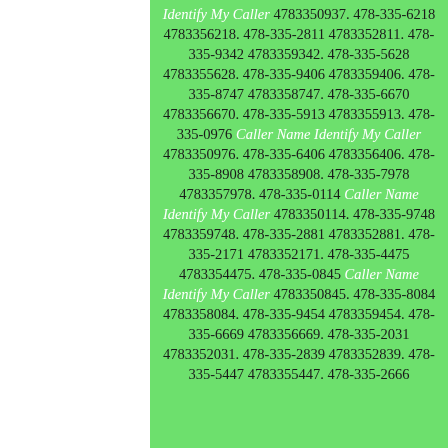Identify My Caller 4783350937. 478-335-6218 4783356218. 478-335-2811 4783352811. 478-335-9342 4783359342. 478-335-5628 4783355628. 478-335-9406 4783359406. 478-335-8747 4783358747. 478-335-6670 4783356670. 478-335-5913 4783355913. 478-335-0976 Caller Name Identify My Caller 4783350976. 478-335-6406 4783356406. 478-335-8908 4783358908. 478-335-7978 4783357978. 478-335-0114 Caller Name Identify My Caller 4783350114. 478-335-9748 4783359748. 478-335-2881 4783352881. 478-335-2171 4783352171. 478-335-4475 4783354475. 478-335-0845 Caller Name Identify My Caller 4783350845. 478-335-8084 4783358084. 478-335-9454 4783359454. 478-335-6669 4783356669. 478-335-2031 4783352031. 478-335-2839 4783352839. 478-335-5447 4783355447. 478-335-2666